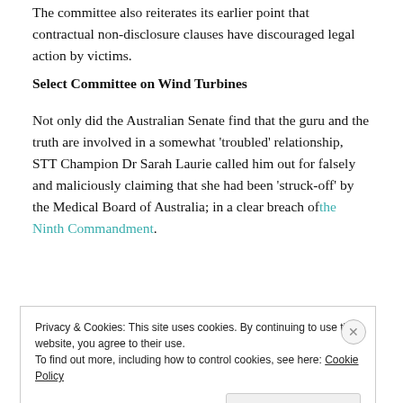The committee also reiterates its earlier point that contractual non-disclosure clauses have discouraged legal action by victims.
Select Committee on Wind Turbines
Not only did the Australian Senate find that the guru and the truth are involved in a somewhat ‘troubled’ relationship, STT Champion Dr Sarah Laurie called him out for falsely and maliciously claiming that she had been ‘struck-off’ by the Medical Board of Australia; in a clear breach of the Ninth Commandment.
Privacy & Cookies: This site uses cookies. By continuing to use this website, you agree to their use.
To find out more, including how to control cookies, see here: Cookie Policy
Close and accept